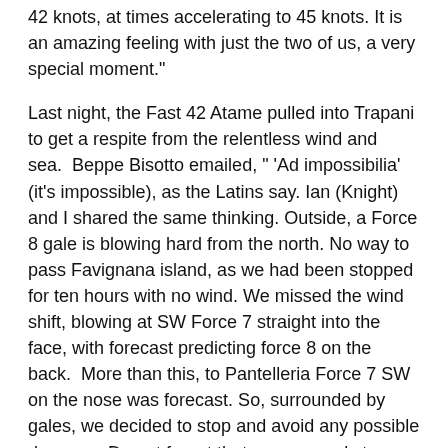42 knots, at times accelerating to 45 knots. It is an amazing feeling with just the two of us, a very special moment."
Last night, the Fast 42 Atame pulled into Trapani to get a respite from the relentless wind and sea. Beppe Bisotto emailed, " 'Ad impossibilia' (it's impossible), as the Latins say. Ian (Knight) and I shared the same thinking. Outside, a Force 8 gale is blowing hard from the north. No way to pass Favignana island, as we had been stopped for ten hours with no wind. We missed the wind shift, blowing at SW Force 7 straight into the face, with forecast predicting force 8 on the back. More than this, to Pantelleria Force 7 SW on the nose was forecast. So, surrounded by gales, we decided to stop and avoid any possible damage. Do not forget that we were only two- handed instead of a full crew of eight to ten. By the way, we are happy to have raced faster than many bigger boats with full crew! Atame is definitely solid, fast, and reliable."
Only the x40 Pita Maha (ITA), retired today, bringing the total